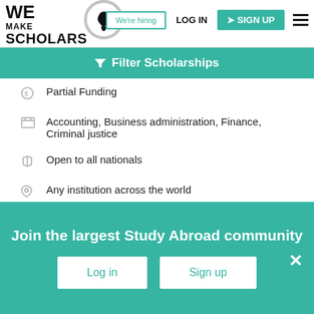We Make Scholars — We're hiring | LOG IN | SIGN UP
Filter Scholarships
Partial Funding
Accounting, Business administration, Finance, Criminal justice
Open to all nationals
Any institution across the world
Shortlist | View & Apply
Update your status of this scholarship
Join the largest Study Abroad community
Log in | Sign up